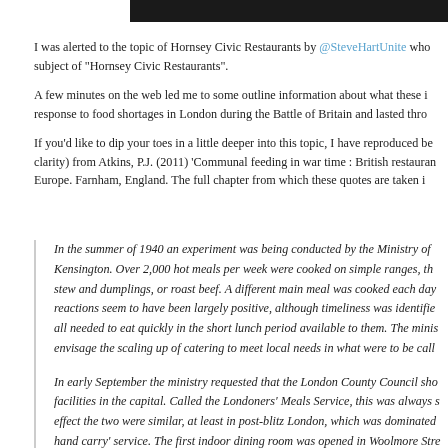[Figure (photo): Partial photograph strip at top of page, mostly cropped, dark background]
I was alerted to the topic of Hornsey Civic Restaurants by @SteveHartUnite who subject of "Hornsey Civic Restaurants".
A few minutes on the web led me to some outline information about what these i response to food shortages in London during the Battle of Britain and lasted thro
If you'd like to dip your toes in a little deeper into this topic, I have reproduced be clarity) from Atkins, P.J. (2011) 'Communal feeding in war time : British restauran Europe. Farnham, England. The full chapter from which these quotes are taken i
In the summer of 1940 an experiment was being conducted by the Ministry of Kensington. Over 2,000 hot meals per week were cooked on simple ranges, th stew and dumplings, or roast beef. A different main meal was cooked each day reactions seem to have been largely positive, although timeliness was identifie all needed to eat quickly in the short lunch period available to them. The minis envisage the scaling up of catering to meet local needs in what were to be call
In early September the ministry requested that the London County Council sho facilities in the capital. Called the Londoners' Meals Service, this was always s effect the two were similar, at least in post-blitz London, which was dominated hand carry' service. The first indoor dining room was opened in Woolmore Stre Londoners' Meals Service centres were producing a total of 80,000 meals a